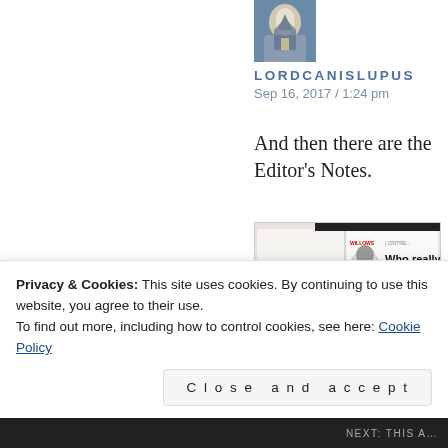[Figure (photo): Small thumbnail photo of a building/church with blue sky, used as blog avatar]
LORDCANISLUPUS
Sep 16, 2017 / 1:24 pm
And then there are the Editor's Notes.
[Figure (photo): Photo of an open magazine page showing article titled 'Who really pulls the strings in English cricket?' with a headshot of a bald man and two columns of text]
Privacy & Cookies: This site uses cookies. By continuing to use this website, you agree to their use.
To find out more, including how to control cookies, see here: Cookie Policy
Close and accept
NEXT: THIS A...